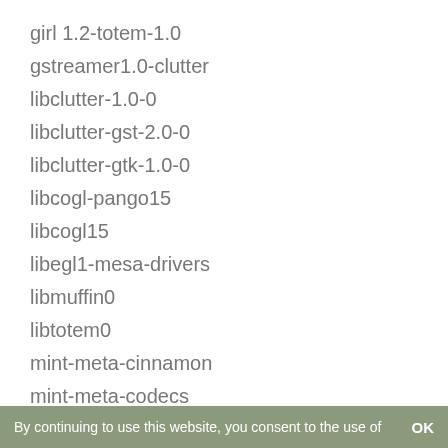girl 1.2-totem-1.0
gstreamer1.0-clutter
libclutter-1.0-0
libclutter-gst-2.0-0
libclutter-gtk-1.0-0
libcogl-pango15
libcogl15
libegl1-mesa-drivers
libmuffin0
libtotem0
mint-meta-cinnamon
mint-meta-codecs
totem
totem-mozilla
totem-plugins
totem-plugins-extra
By continuing to use this website, you consent to the use of    OK